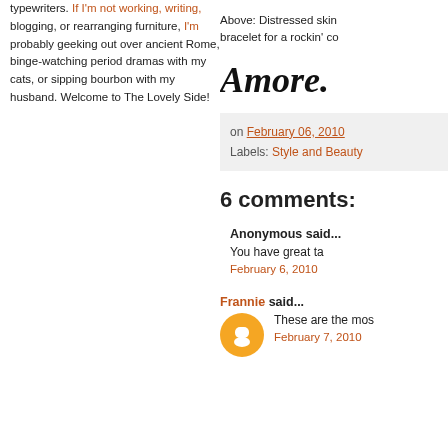typewriters. If I'm not working, writing, blogging, or rearranging furniture, I'm probably geeking out over ancient Rome, binge-watching period dramas with my cats, or sipping bourbon with my husband. Welcome to The Lovely Side!
Above: Distressed skin bracelet for a rockin' co
Amore.
on February 06, 2010
Labels: Style and Beauty
6 comments:
Anonymous said...
You have great ta
February 6, 2010
Frannie said...
These are the mos
February 7, 2010